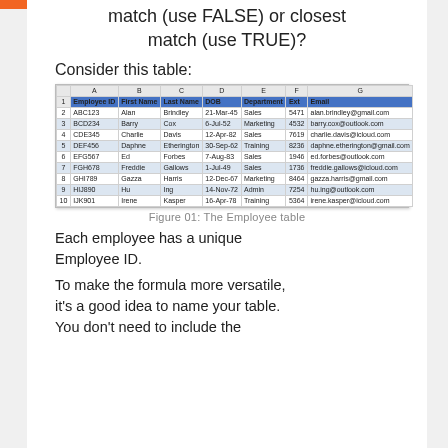match (use FALSE) or closest match (use TRUE)?
Consider this table:
[Figure (screenshot): Screenshot of an Excel spreadsheet showing an Employee table with columns: Employee ID, First Name, Last Name, DOB, Department, Ext, Email. Rows include: ABC123 Alan Brindley 21-Mar-45 Sales 5471 alan.brindley@gmail.com; BCD234 Barry Cox 6-Jul-52 Marketing 4532 barry.cox@outlook.com; CDE345 Charlie Davis 12-Apr-82 Sales 7619 charlie.davis@icloud.com; DEF456 Daphne Etherington 30-Sep-62 Training 8236 daphne.etherington@gmail.com; EFG567 Ed Forbes 7-Aug-83 Sales 1946 ed.forbes@outlook.com; FGH678 Freddie Gallows 1-Jul-49 Sales 1736 freddie.gallows@icloud.com; GHI789 Gazza Harris 12-Dec-67 Marketing 8464 gazza.harris@gmail.com; HIJ890 Hu Ing 14-Nov-72 Admin 7254 hu.ing@outlook.com; IJK901 Irene Kasper 16-Apr-78 Training 5364 irene.kasper@icloud.com]
Figure 01: The Employee table
Each employee has a unique Employee ID.
To make the formula more versatile, it's a good idea to name your table. You don't need to include the